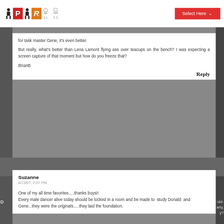PIR [logo with figures] — Select Here [dropdown]
for task master Gene, it's even better.
But really, what's better than Lena Lamont flying ass over teacups on the bench? I was expecting a screen capture of that moment but how do you freeze that?
BrianB
Reply
Suzanne
8/13/07, 2:07 PM
One of my all time favorites.....thanks boys!! Every male dancer alive today should be locked in a room and be made to study Donald and Gene...they were the originals.....they laid the foundation.